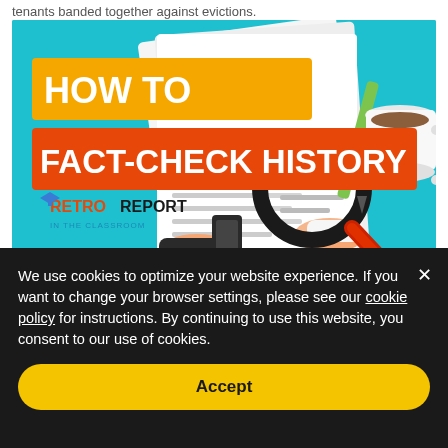tenants banded together against evictions.
[Figure (illustration): Retro Report In The Classroom infographic thumbnail: 'HOW TO FACT-CHECK HISTORY' on an orange/yellow banner over a teal background, showing hands holding documents with a magnifying glass, a pen, and a coffee cup. Retro Report In The Classroom logo in lower left.]
Video
We use cookies to optimize your website experience. If you want to change your browser settings, please see our cookie policy for instructions. By continuing to use this website, you consent to our use of cookies.
Accept